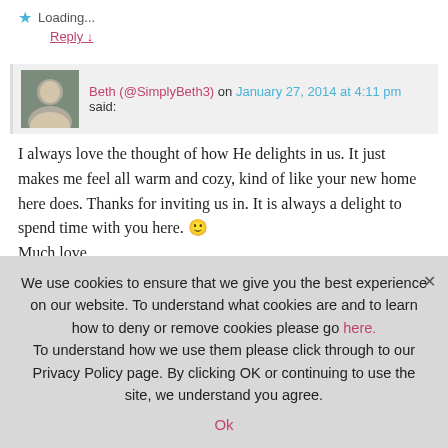★ Loading...
Reply ↓
Beth (@SimplyBeth3) on January 27, 2014 at 4:11 pm said:
I always love the thought of how He delights in us. It just makes me feel all warm and cozy, kind of like your new home here does. Thanks for inviting us in. It is always a delight to spend time with you here. 🙂 Much love,
Beth
★ Loading...
We use cookies to ensure that we give you the best experience on our website. To understand what cookies are and to learn how to deny or remove cookies please go here. To understand how we use them please click through to our Privacy Policy page. By clicking OK or continuing to use the site, we understand you agree.
Ok